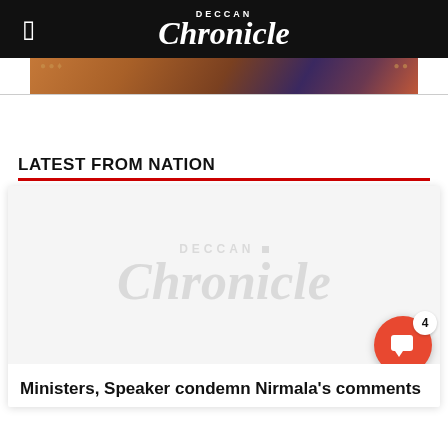Deccan Chronicle
[Figure (photo): Partial view of a circular decorative object with orange and purple tones, cropped at top]
LATEST FROM NATION
[Figure (photo): Article image placeholder with Deccan Chronicle watermark logo]
Ministers, Speaker condemn Nirmala's comments